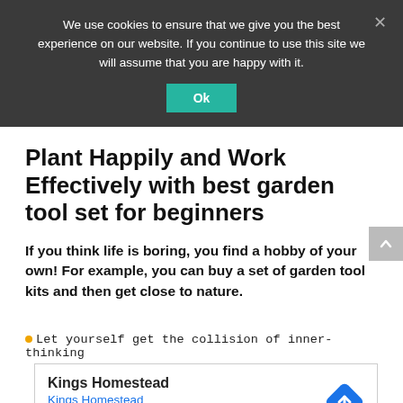We use cookies to ensure that we give you the best experience on our website. If you continue to use this site we will assume that you are happy with it.
Ok
Plant Happily and Work Effectively with best garden tool set for beginners
If you think life is boring, you find a hobby of your own! For example, you can buy a set of garden tool kits and then get close to nature.
Let yourself get the collision of inner-thinking
[Figure (other): Advertisement box: Kings Homestead with blue text link and navigation icon]